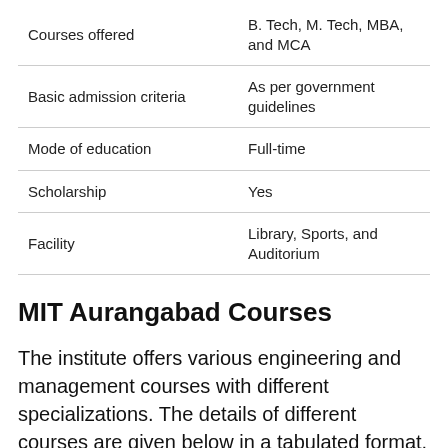|  |  |
| --- | --- |
| Courses offered | B. Tech, M. Tech, MBA, and MCA |
| Basic admission criteria | As per government guidelines |
| Mode of education | Full-time |
| Scholarship | Yes |
| Facility | Library, Sports, and Auditorium |
MIT Aurangabad Courses
The institute offers various engineering and management courses with different specializations. The details of different courses are given below in a tabulated format.
| Course | Specialization | Eligibility |
| --- | --- | --- |